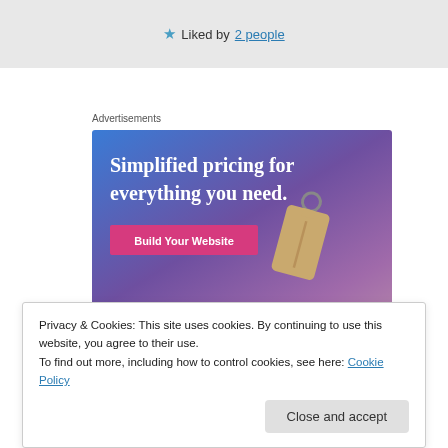★ Liked by 2 people
Advertisements
[Figure (illustration): Advertisement banner with gradient blue-purple background. Text reads 'Simplified pricing for everything you need.' with a pink 'Build Your Website' button and a price tag graphic on the right.]
Privacy & Cookies: This site uses cookies. By continuing to use this website, you agree to their use.
To find out more, including how to control cookies, see here: Cookie Policy
Close and accept